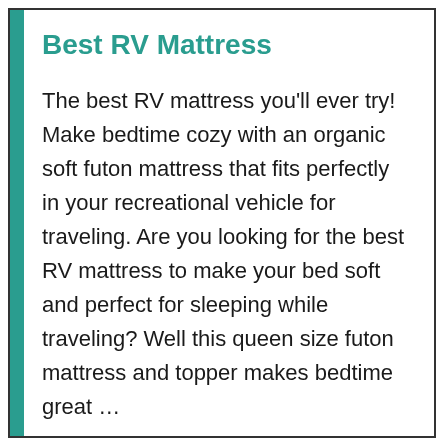Best RV Mattress
The best RV mattress you'll ever try! Make bedtime cozy with an organic soft futon mattress that fits perfectly in your recreational vehicle for traveling. Are you looking for the best RV mattress to make your bed soft and perfect for sleeping while traveling? Well this queen size futon mattress and topper makes bedtime great …